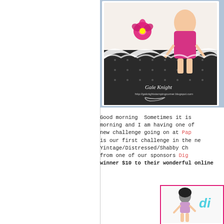[Figure (photo): Handmade greeting card with black lace, pink flower embellishment, polka dot paper, and illustrated fashion figure. Watermark reads 'Gale Knight' with a blog URL.]
Good morning  Sometimes it is morning and I am having one of new challenge going on at Pap is our first challenge in the ne Yintage/Distressed/Shabby Ch from one of our sponsors Dig winner $10 to their wonderful online
[Figure (photo): Bottom right image showing an illustrated girl figure with 'di' text visible, in a pink bordered frame.]